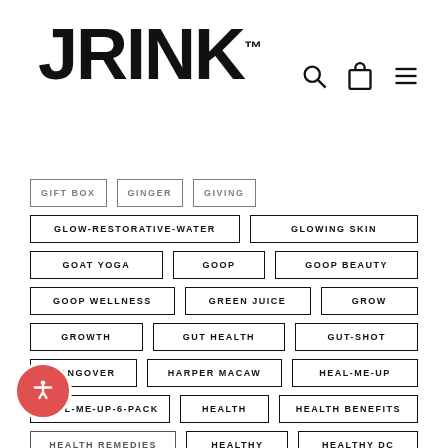JRINK
GIFT BOX
GINGER
GIVING
GLOW-RESTORATIVE-WATER
GLOWING SKIN
GOAT YOGA
GOOP
GOOP BEAUTY
GOOP WELLNESS
GREEN JUICE
GROW
GROWTH
GUT HEALTH
GUT-SHOT
HANGOVER
HARPER MACAW
HEAL-ME-UP
HEAL-ME-UP-6-PACK
HEALTH
HEALTH BENEFITS
HEALTH REMEDIES
HEALTHY
HEALTHY DC